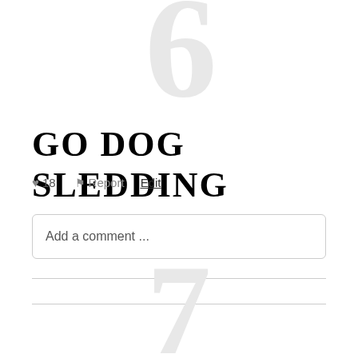[Figure (other): Large light gray number '6' as decorative background page number at top]
GO DOG SLEDDING
♥ 18   ⚑ Report   Edit
Add a comment ...
[Figure (other): Large light gray number '7' as decorative background page number at bottom]